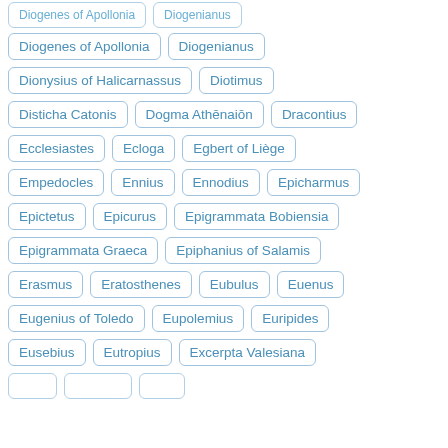Diogenes of Apollonia
Diogenianus
Dionysius of Halicarnassus
Diotimus
Disticha Catonis
Dogma Athēnaiōn
Dracontius
Ecclesiastes
Ecloga
Egbert of Liège
Empedocles
Ennius
Ennodius
Epicharmus
Epictetus
Epicurus
Epigrammata Bobiensia
Epigrammata Graeca
Epiphanius of Salamis
Erasmus
Eratosthenes
Eubulus
Euenus
Eugenius of Toledo
Eupolemius
Euripides
Eusebius
Eutropius
Excerpta Valesiana